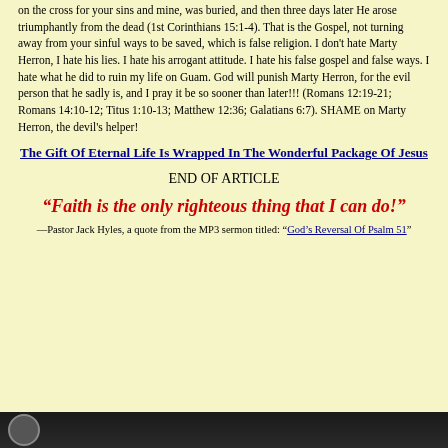on the cross for your sins and mine, was buried, and then three days later He arose triumphantly from the dead (1st Corinthians 15:1-4). That is the Gospel, not turning away from your sinful ways to be saved, which is false religion. I don't hate Marty Herron, I hate his lies. I hate his arrogant attitude. I hate his false gospel and false ways. I hate what he did to ruin my life on Guam. God will punish Marty Herron, for the evil person that he sadly is, and I pray it be so sooner than later!!! (Romans 12:19-21; Romans 14:10-12; Titus 1:10-13; Matthew 12:36; Galatians 6:7). SHAME on Marty Herron, the devil's helper!
The Gift Of Eternal Life Is Wrapped In The Wonderful Package Of Jesus
END OF ARTICLE
“Faith is the only righteous thing that I can do!”
—Pastor Jack Hyles, a quote from the MP3 sermon titled: “God’s Reversal Of Psalm 51”
[Figure (photo): Dark background image at bottom of page with a circular element visible at lower left]